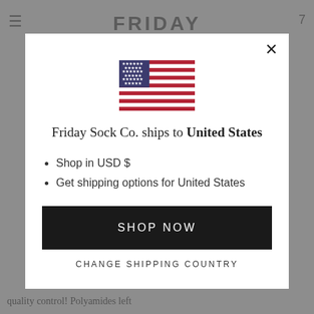[Figure (screenshot): Background website page (Friday Sock Co.) dimmed behind modal overlay, showing hamburger menu, FRIDAY header text, cart icon, and bottom text 'quality control! Polyamides left']
[Figure (illustration): United States flag SVG rendered inside modal dialog]
Friday Sock Co. ships to United States
Shop in USD $
Get shipping options for United States
SHOP NOW
CHANGE SHIPPING COUNTRY